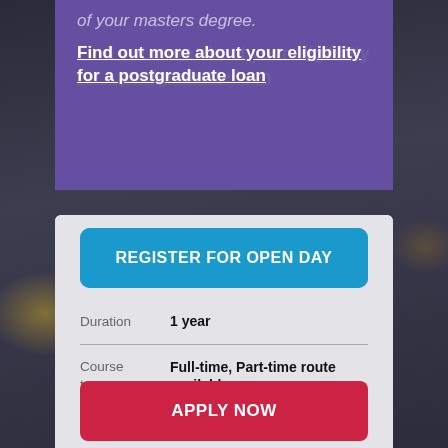of your masters degree.
Find out more about your eligibility for a postgraduate loan
REGISTER FOR OPEN DAY
| Field | Value |
| --- | --- |
| Duration | 1 year |
| Course type | Full-time, Part-time route available |
| Location | Plymouth |
APPLY NOW